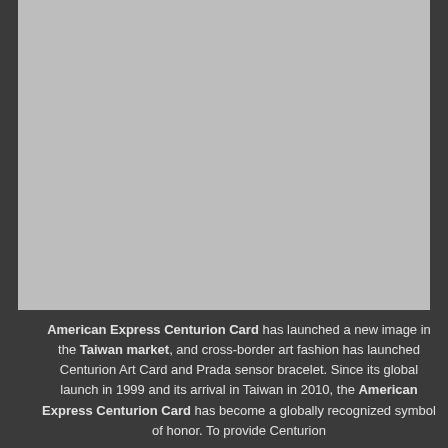[Figure (photo): A large gray placeholder image occupying the upper portion of the page]
American Express Centurion Card has launched a new image in the Taiwan market, and cross-border art fashion has launched Centurion Art Card and Prada sensor bracelet. Since its global launch in 1999 and its arrival in Taiwan in 2010, the American Express Centurion Card has become a globally recognized symbol of honor. To provide Centurion